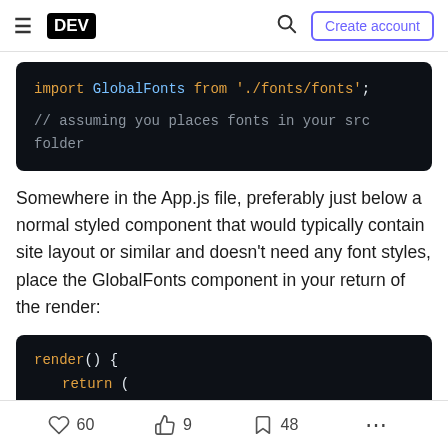DEV | Create account
[Figure (screenshot): Code block showing: import GlobalFonts from './fonts/fonts'; // assuming you places fonts in your src folder]
Somewhere in the App.js file, preferably just below a normal styled component that would typically contain site layout or similar and doesn't need any font styles, place the GlobalFonts component in your return of the render:
[Figure (screenshot): Code block showing: render() { return ( <Wrapper>]
60  9  48  ...